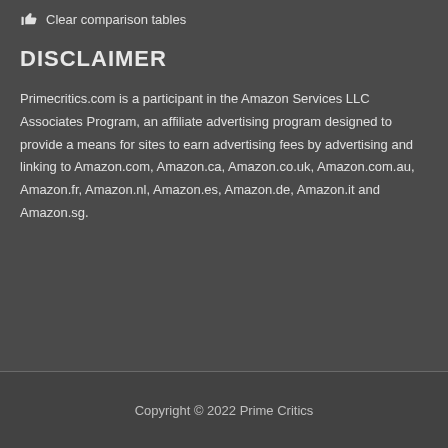👍 Clear comparison tables
DISCLAIMER
Primecritics.com is a participant in the Amazon Services LLC Associates Program, an affiliate advertising program designed to provide a means for sites to earn advertising fees by advertising and linking to Amazon.com, Amazon.ca, Amazon.co.uk, Amazon.com.au, Amazon.fr, Amazon.nl, Amazon.es, Amazon.de, Amazon.it and Amazon.sg.
Copyright © 2022 Prime Critics